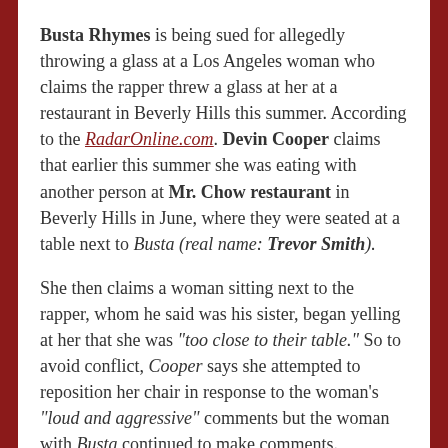Busta Rhymes is being sued for allegedly throwing a glass at a Los Angeles woman who claims the rapper threw a glass at her at a restaurant in Beverly Hills this summer. According to the RadarOnline.com. Devin Cooper claims that earlier this summer she was eating with another person at Mr. Chow restaurant in Beverly Hills in June, where they were seated at a table next to Busta (real name: Trevor Smith).

She then claims a woman sitting next to the rapper, whom he said was his sister, began yelling at her that she was "too close to their table." So to avoid conflict, Cooper says she attempted to reposition her chair in response to the woman's "loud and aggressive" comments but the woman with Busta continued to make comments.

Cooper claims she asked her to please calm down, that is when Busta allegedly began yelling "that's my sister, that's...